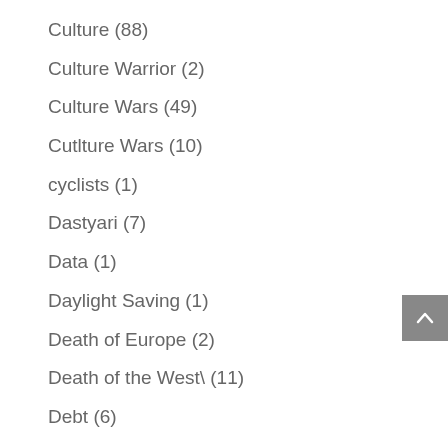Culture (88)
Culture Warrior (2)
Culture Wars (49)
Cutlture Wars (10)
cyclists (1)
Dastyari (7)
Data (1)
Daylight Saving (1)
Death of Europe (2)
Death of the West\ (11)
Debt (6)
decline of the west and democracy (1)